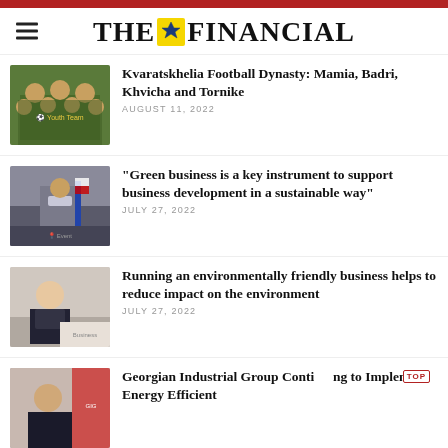THE FINANCIAL
[Figure (photo): Group of youth soccer players in green and yellow jerseys]
Kvaratskhelia Football Dynasty: Mamia, Badri, Khvicha and Tornike
AUGUST 11, 2022
[Figure (photo): Man in suit speaking at a podium with Georgian flag in background]
“Green business is a key instrument to support business development in a sustainable way”
JULY 27, 2022
[Figure (photo): Woman in business attire at a conference table]
Running an environmentally friendly business helps to reduce impact on the environment
JULY 27, 2022
[Figure (photo): Man in suit at a press event with banners in background]
Georgian Industrial Group Continuing to Implement Energy Efficient